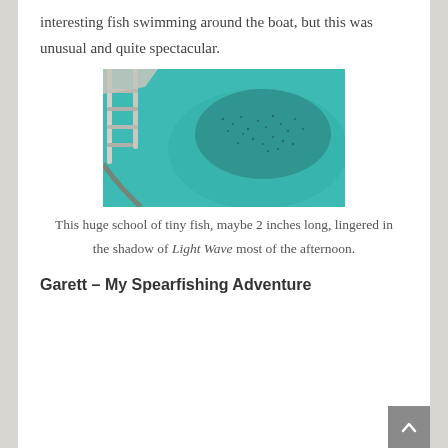interesting fish swimming around the boat, but this was unusual and quite spectacular.
[Figure (photo): Aerial/overhead photo of turquoise/teal water with a huge school of tiny fish visible as dark specks, and a boat ladder visible on the left side of the image.]
This huge school of tiny fish, maybe 2 inches long, lingered in the shadow of Light Wave most of the afternoon.
Garett – My Spearfishing Adventure